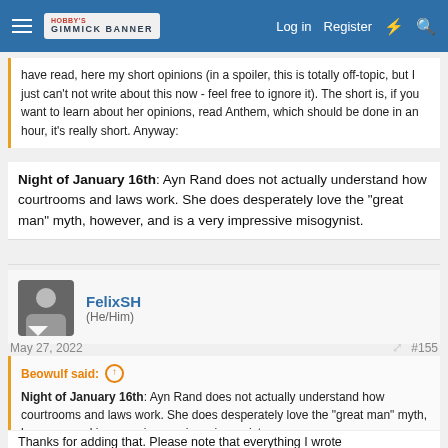Gimmick Banner — Log in | Register
have read, here my short opinions (in a spoiler, this is totally off-topic, but I just can't not write about this now - feel free to ignore it). The short is, if you want to learn about her opinions, read Anthem, which should be done in an hour, it's really short. Anyway:
Night of January 16th: Ayn Rand does not actually understand how courtrooms and laws work. She does desperately love the "great man" myth, however, and is a very impressive misogynist.
FelixSH
(He/Him)
May 27, 2022   #155
Beowulf said: ↑
Night of January 16th: Ayn Rand does not actually understand how courtrooms and laws work. She does desperately love the "great man" myth, however, and is a very impressive misogynist.
Thanks for adding that. Please note that everything I wrote